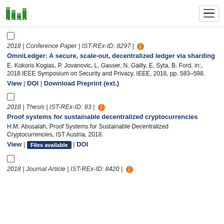[Figure (logo): ISTA institution logo with green bar chart style icon and letters I, S, T, A]
2018 | Conference Paper | IST-REx-ID: 8297 | [open access icon]
OmniLedger: A secure, scale-out, decentralized ledger via sharding
E. Kokoris Kogias, P. Jovanovic, L. Gasser, N. Gailly, E. Syta, B. Ford, in:, 2018 IEEE Symposium on Security and Privacy, IEEE, 2018, pp. 583–598.
View | DOI | Download Preprint (ext.)
2018 | Thesis | IST-REx-ID: 83 | [open access icon]
Proof systems for sustainable decentralized cryptocurrencies
H.M. Abusalah, Proof Systems for Sustainable Decentralized Cryptocurrencies, IST Austria, 2018.
View | Files available | DOI
2018 | Journal Article | IST-REx-ID: 8420 | [open access icon]